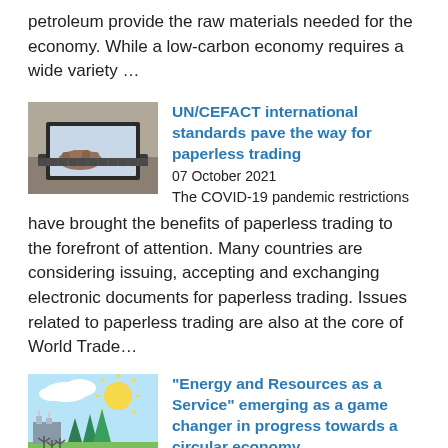petroleum provide the raw materials needed for the economy. While a low-carbon economy requires a wide variety ...
[Figure (photo): Person typing on a laptop keyboard, close-up of hands]
UN/CEFACT international standards pave the way for paperless trading
07 October 2021
The COVID-19 pandemic restrictions have brought the benefits of paperless trading to the forefront of attention. Many countries are considering issuing, accepting and exchanging electronic documents for paperless trading. Issues related to paperless trading are also at the core of World Trade...
[Figure (illustration): Colorful illustration of green energy scene with sun, trees, wind turbines and buildings]
“Energy and Resources as a Service” emerging as a game changer in progress towards a circular economy
27 September 2021
Realization of the Sustainable